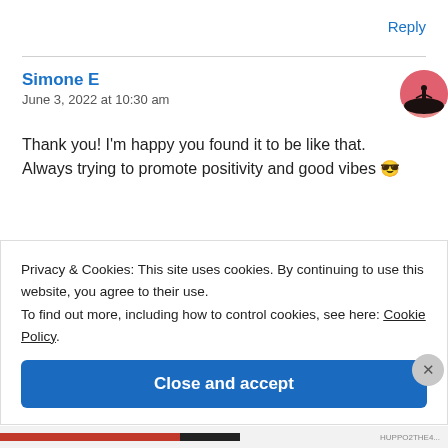Reply
Simone E
June 3, 2022 at 10:30 am
[Figure (illustration): Circular avatar with pink/salmon border and silhouette of a person standing on a hill at dusk]
Thank you! I'm happy you found it to be like that. Always trying to promote positivity and good vibes 😎
Privacy & Cookies: This site uses cookies. By continuing to use this website, you agree to their use.
To find out more, including how to control cookies, see here: Cookie Policy
Close and accept